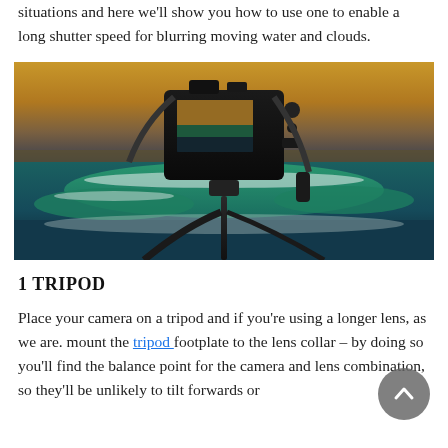situations and here we'll show you how to use one to enable a long shutter speed for blurring moving water and clouds.
[Figure (photo): A Canon DSLR camera mounted on a tripod, photographed from behind, with ocean waves and a golden sky in the background.]
1 TRIPOD
Place your camera on a tripod and if you're using a longer lens, as we are. mount the tripod footplate to the lens collar – by doing so you'll find the balance point for the camera and lens combination, so they'll be unlikely to tilt forwards or